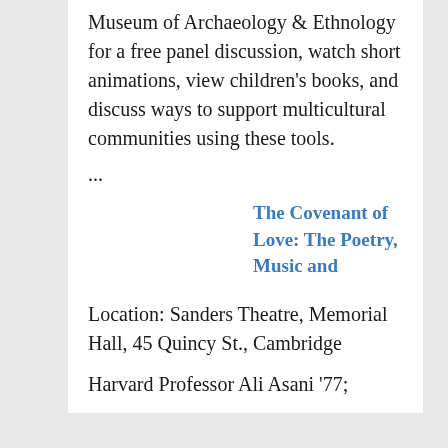Museum of Archaeology & Ethnology for a free panel discussion, watch short animations, view children's books, and discuss ways to support multicultural communities using these tools.
...
The Covenant of Love: The Poetry, Music and Spirituality of South Asian Muslim Cultures
Location: Sanders Theatre, Memorial Hall, 45 Quincy St., Cambridge
Harvard Professor Ali Asani '77;